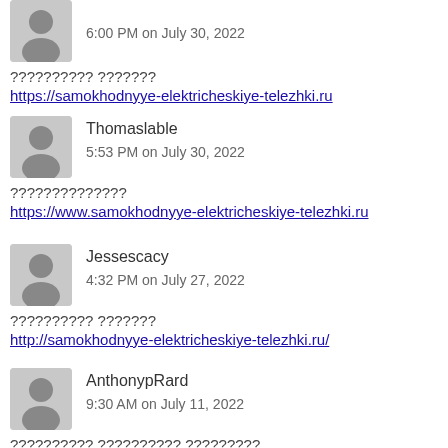6:00 PM on July 30, 2022
?????????? ???????
https://samokhodnyye-elektricheskiye-telezhki.ru
Thomaslable
5:53 PM on July 30, 2022
??????????????
https://www.samokhodnyye-elektricheskiye-telezhki.ru
Jessescacy
4:32 PM on July 27, 2022
?????????? ???????
http://samokhodnyye-elektricheskiye-telezhki.ru/
AnthonypRard
9:30 AM on July 11, 2022
?????????? ?????????? ?????????